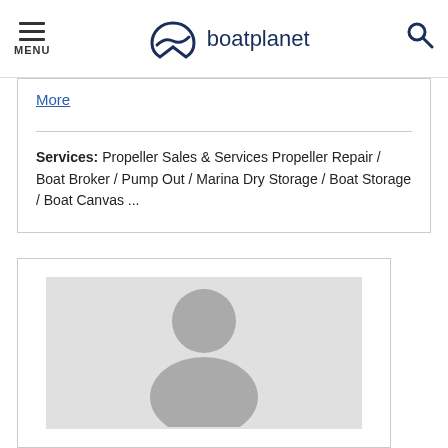MENU | boatplanet
More
Services: Propeller Sales & Services Propeller Repair / Boat Broker / Pump Out / Marina Dry Storage / Boat Storage / Boat Canvas ...
[Figure (illustration): Placeholder avatar image with grey background showing a generic person silhouette (head and shoulders)]